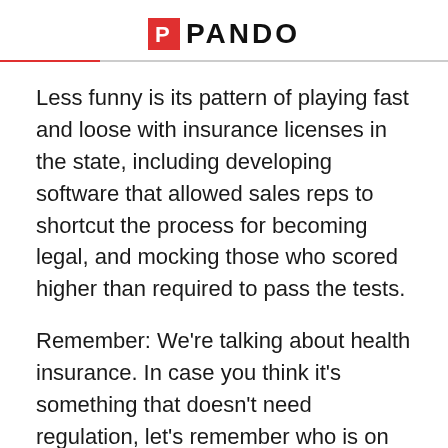PANDO
Less funny is its pattern of playing fast and loose with insurance licenses in the state, including developing software that allowed sales reps to shortcut the process for becoming legal, and mocking those who scored higher than required to pass the tests.
Remember: We're talking about health insurance. In case you think it's something that doesn't need regulation, let's remember who is on the other side of a healthcare premium. All of us. Your elderly parents. Your sick kids.